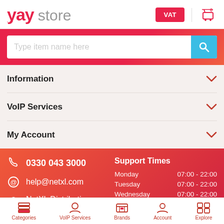[Figure (logo): yay store logo with red yay text and grey store text]
VAT
[Figure (illustration): Shopping cart icon with 0 badge]
[Figure (screenshot): Search bar with placeholder 'Type item name here' and blue search button]
Information
VoIP Services
My Account
0330 043 3000
help@netxl.com
NetXL Distribution Limited
Support Times
| Day | Hours |
| --- | --- |
| Monday | 07:00 - 22:00 |
| Tuesday | 07:00 - 22:00 |
| Wednesday | 07:00 - 22:00 |
| Thursday | 07:00 - 22:00 |
Categories | VoIP Services | Brands | Account | Explore